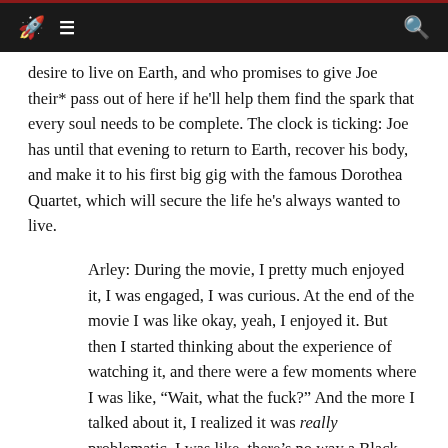Navigation bar with rocket logo, menu icon, and search icon
desire to live on Earth, and who promises to give Joe their* pass out of here if he'll help them find the spark that every soul needs to be complete. The clock is ticking: Joe has until that evening to return to Earth, recover his body, and make it to his first big gig with the famous Dorothea Quartet, which will secure the life he's always wanted to live.
Arley: During the movie, I pretty much enjoyed it, I was engaged, I was curious. At the end of the movie I was like okay, yeah, I enjoyed it. But then I started thinking about the experience of watching it, and there were a few moments where I was like, “Wait, what the fuck?” And the more I talked about it, I realized it was really problematic. I was like, there’s no way a Black guy wrote this. And I looked it up, and it was two white guys and one